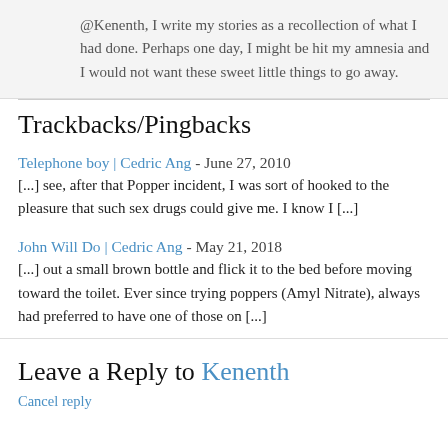@Kenenth, I write my stories as a recollection of what I had done. Perhaps one day, I might be hit my amnesia and I would not want these sweet little things to go away.
Trackbacks/Pingbacks
Telephone boy | Cedric Ang - June 27, 2010
[...] see, after that Popper incident, I was sort of hooked to the pleasure that such sex drugs could give me. I know I [...]
John Will Do | Cedric Ang - May 21, 2018
[...] out a small brown bottle and flick it to the bed before moving toward the toilet. Ever since trying poppers (Amyl Nitrate), always had preferred to have one of those on [...]
Leave a Reply to Kenenth
Cancel reply